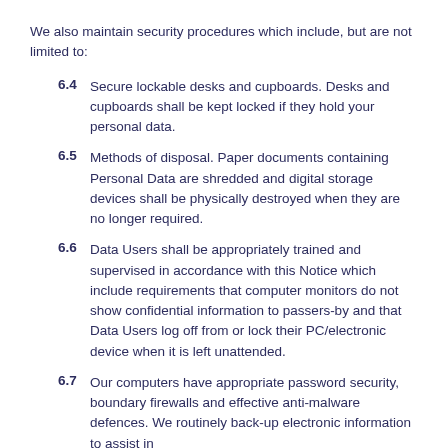We also maintain security procedures which include, but are not limited to:
6.4  Secure lockable desks and cupboards. Desks and cupboards shall be kept locked if they hold your personal data.
6.5  Methods of disposal. Paper documents containing Personal Data are shredded and digital storage devices shall be physically destroyed when they are no longer required.
6.6  Data Users shall be appropriately trained and supervised in accordance with this Notice which include requirements that computer monitors do not show confidential information to passers-by and that Data Users log off from or lock their PC/electronic device when it is left unattended.
6.7  Our computers have appropriate password security, boundary firewalls and effective anti-malware defences. We routinely back-up electronic information to assist in